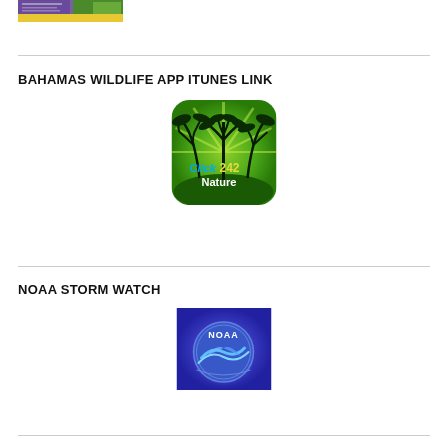[Figure (photo): Partial view of a brochure or guide with green, yellow and purple colors, showing wildlife imagery]
BAHAMAS WILDLIFE APP ITUNES LINK
[Figure (logo): Click 242 Nature app icon - green background with palm tree silhouettes and text 'Click 242 Nature']
NOAA STORM WATCH
[Figure (logo): NOAA logo - blue and purple background with NOAA text and bird/wave emblem]